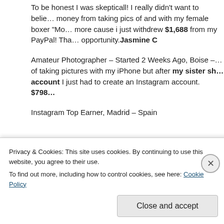To be honest I was skeptical! I really didn't want to believe I could make money from taking pics of and with my female boxer "Mo... more cause i just withdrew $1,688 from my PayPal! Tha... opportunity.Jasmine C
Amateur Photographer – Started 2 Weeks Ago, Boise – ...of taking pictures with my iPhone but after my sister showed me her account I just had to create an Instagram account. $798...
Instagram Top Earner, Madrid – Spain
As seen On
Privacy & Cookies: This site uses cookies. By continuing to use this website, you agree to their use.
To find out more, including how to control cookies, see here: Cookie Policy